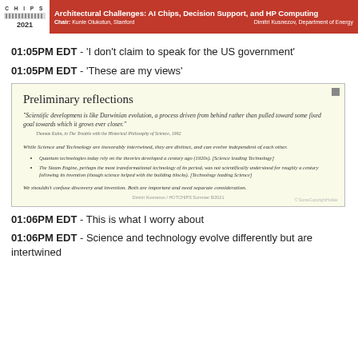CHIPS 2021 | Architectural Challenges: AI Chips, Decision Support, and HP Computing | Chair: Kunle Olukotun, Stanford | Dimitri Kusnezov, Department of Energy
01:05PM EDT - 'I don't claim to speak for the US government'
01:05PM EDT - 'These are my views'
[Figure (screenshot): Slide titled 'Preliminary reflections' with a quote from Thomas Kuhn and text about science and technology evolving independently, with bullet points about quantum technologies and the steam engine, ending with a note about discovery and invention.]
01:06PM EDT - This is what I worry about
01:06PM EDT - Science and technology evolve differently but are intertwined